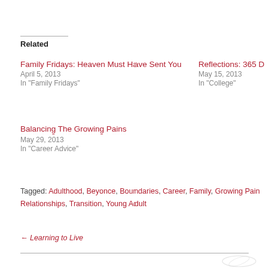Related
Family Fridays: Heaven Must Have Sent You
April 5, 2013
In "Family Fridays"
Reflections: 365 D
May 15, 2013
In "College"
Balancing The Growing Pains
May 29, 2013
In "Career Advice"
Tagged: Adulthood, Beyonce, Boundaries, Career, Family, Growing Pains, Relationships, Transition, Young Adult
← Learning to Live